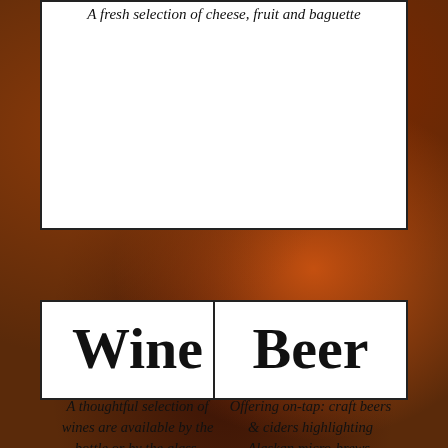A fresh selection of cheese, fruit and baguette
Wine
A thoughtful selection of wines are available by the bottle or by the glass.
Beer
Offering on-tap: craft beers & ciders highlighting Alaskan micro-brews.